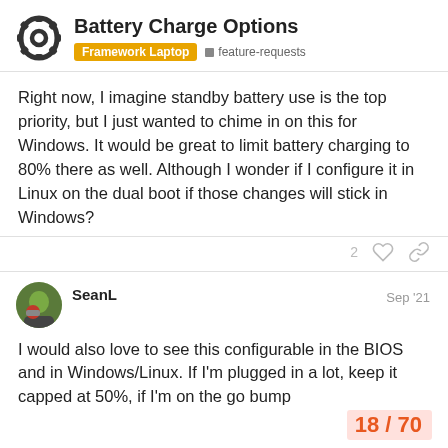Battery Charge Options — Framework Laptop · feature-requests
Right now, I imagine standby battery use is the top priority, but I just wanted to chime in on this for Windows. It would be great to limit battery charging to 80% there as well. Although I wonder if I configure it in Linux on the dual boot if those changes will stick in Windows?
SeanL  Sep '21
I would also love to see this configurable in the BIOS and in Windows/Linux. If I'm plugged in a lot, keep it capped at 50%, if I'm on the go bump
18 / 70